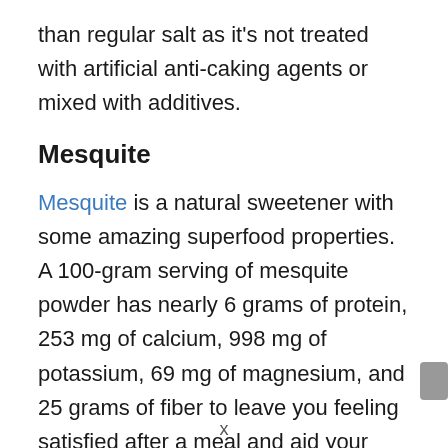than regular salt as it's not treated with artificial anti-caking agents or mixed with additives.
Mesquite
Mesquite is a natural sweetener with some amazing superfood properties. A 100-gram serving of mesquite powder has nearly 6 grams of protein, 253 mg of calcium, 998 mg of potassium, 69 mg of magnesium, and 25 grams of fiber to leave you feeling satisfied after a meal and aid your digestive system in